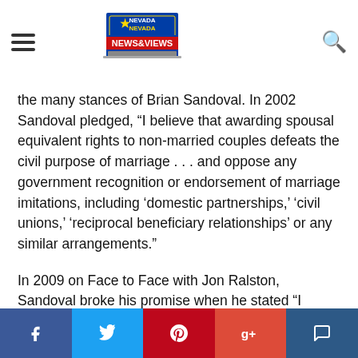Nevada News & Views
the many stances of Brian Sandoval. In 2002 Sandoval pledged, “I believe that awarding spousal equivalent rights to non-married couples defeats the civil purpose of marriage . . . and oppose any government recognition or endorsement of marriage imitations, including ‘domestic partnerships,’ ‘civil unions,’ ‘reciprocal beneficiary relationships’ or any similar arrangements.”
In 2009 on Face to Face with Jon Ralston, Sandoval broke his promise when he stated “I support the domestic partnerships” and Nevada Senate Bill 283 that created domestic partnerships “was an issue of fairness and equality.”
Social share bar: Facebook, Twitter, Pinterest, Google+, Comment